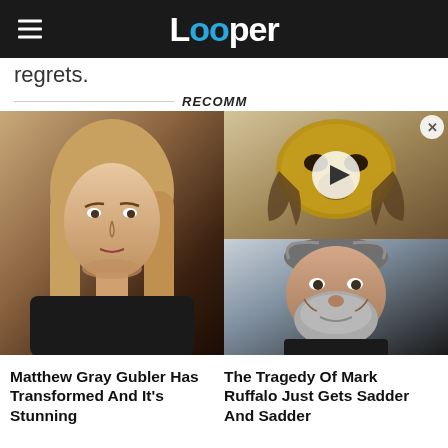Looper
regrets.
RECOMM
[Figure (photo): Video thumbnail showing a masked figure with a golden mask, with a play button overlay]
[Figure (photo): Portrait of Matthew Gray Gubler with long blonde hair]
[Figure (photo): Portrait of Mark Ruffalo with grey beard, smiling]
Matthew Gray Gubler Has Transformed And It's Stunning
The Tragedy Of Mark Ruffalo Just Gets Sadder And Sadder